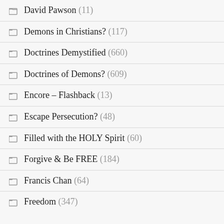David Pawson (11)
Demons in Christians? (117)
Doctrines Demystified (660)
Doctrines of Demons? (609)
Encore – Flashback (13)
Escape Persecution? (48)
Filled with the HOLY Spirit (60)
Forgive & Be FREE (184)
Francis Chan (64)
Freedom (347)